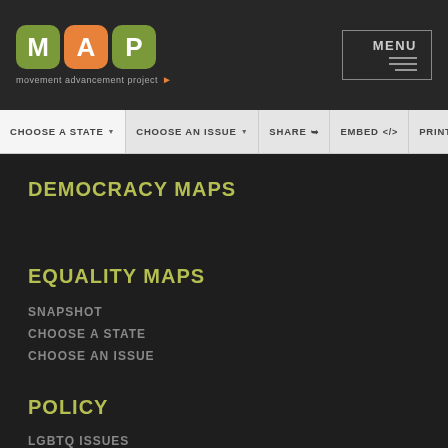MAP movement advancement project MENU
CHOOSE A STATE   CHOOSE AN ISSUE   SHARE   EMBED   PRINT
DEMOCRACY MAPS
EQUALITY MAPS
SNAPSHOT
CHOOSE A STATE
CHOOSE AN ISSUE
POLICY
LGBTQ ISSUES